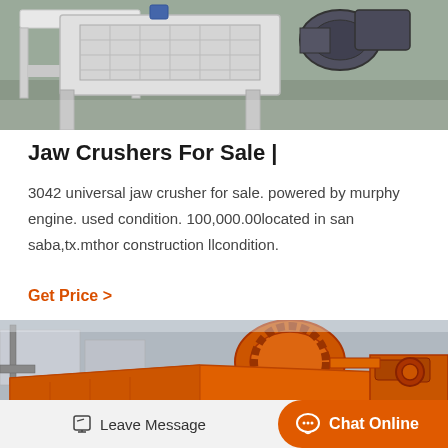[Figure (photo): Industrial jaw crusher machine viewed from above, white/grey metallic frame, concrete floor background]
Jaw Crushers For Sale |
3042 universal jaw crusher for sale. powered by murphy engine. used condition. 100,000.00located in san saba,tx.mthor construction llcondition.
Get Price  >
[Figure (photo): Large orange industrial ball mill and vibrating feeder equipment outdoors at a facility, with gears and rotating drum visible]
Leave Message   Chat Online